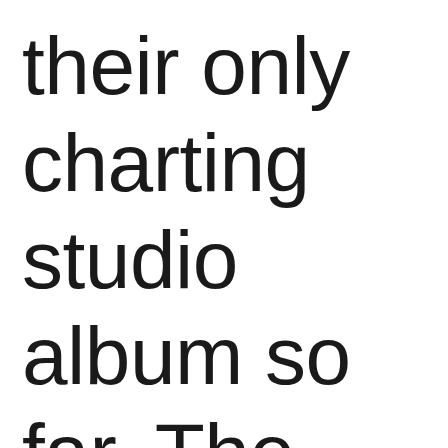their only charting studio album so far. The second new entry is at